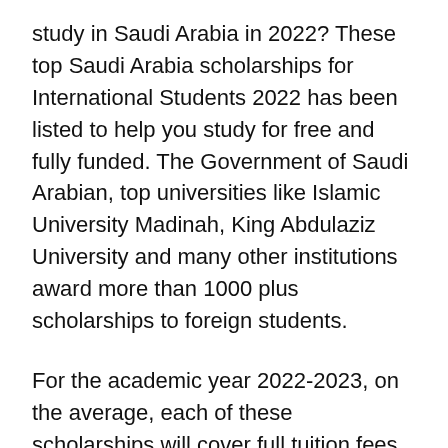study in Saudi Arabia in 2022? These top Saudi Arabia scholarships for International Students 2022 has been listed to help you study for free and fully funded. The Government of Saudi Arabian, top universities like Islamic University Madinah, King Abdulaziz University and many other institutions award more than 1000 plus scholarships to foreign students.
For the academic year 2022-2023, on the average, each of these scholarships will cover full tuition fees, monthly stipend of $1500, accommodation charges, health insurance, and travel expenses. Many of the scholarships are fully funded and might cover your visa processing fees as well, depending on the awarding institution.